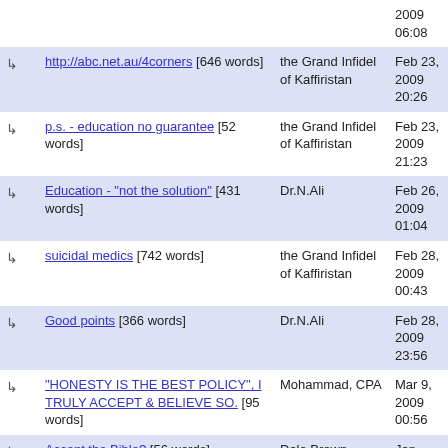|  | Post | Author | Date |
| --- | --- | --- | --- |
| ↳ | http://abc.net.au/4corners [646 words] | the Grand Infidel of Kaffiristan | Feb 23, 2009 20:26 |
| ↳ | p.s. - education no guarantee [52 words] | the Grand Infidel of Kaffiristan | Feb 23, 2009 21:23 |
| ↳ | Education - "not the solution" [431 words] | Dr.N.Ali | Feb 26, 2009 01:04 |
| ↳ | suicidal medics [742 words] | the Grand Infidel of Kaffiristan | Feb 28, 2009 00:43 |
| ↳ | Good points [366 words] | Dr.N.Ali | Feb 28, 2009 23:56 |
| ↳ | "HONESTY IS THE BEST POLICY", I TRULY ACCEPT & BELIEVE SO. [95 words] | Mohammad, CPA | Mar 9, 2009 00:56 |
| ↳ | Accept the Bible? [56 words] | Dale Brown | Jan ... |